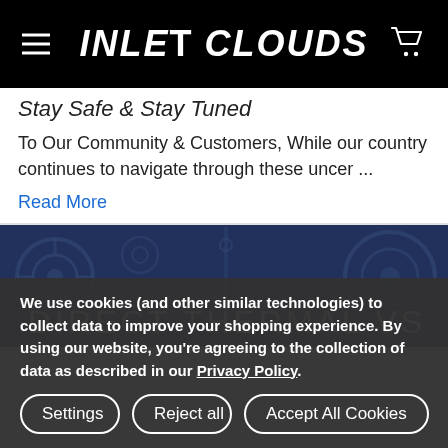INLET CLOUDS
Stay Safe & Stay Tuned
To Our Community & Customers,  While our country continues to navigate through these uncer ...
Read More
[Figure (photo): Industrial machinery/rollers with blue overlay tint, with text overlay reading 'DIRECT THERMAL VS']
We use cookies (and other similar technologies) to collect data to improve your shopping experience. By using our website, you're agreeing to the collection of data as described in our Privacy Policy.
Settings | Reject all | Accept All Cookies